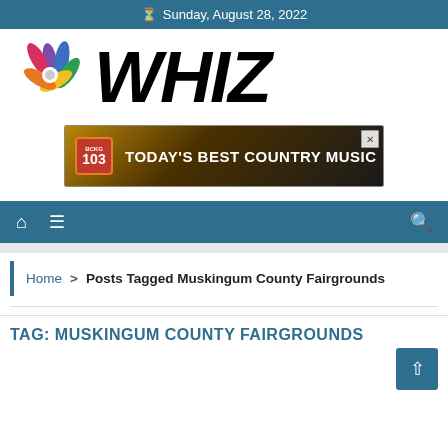Sunday, August 28, 2022
[Figure (logo): NBC peacock logo and WHIZ text logo]
[Figure (infographic): Advertisement banner: BCKG 103 - TODAY'S BEST COUNTRY MUSIC]
[Figure (infographic): Navigation bar with home icon, menu icon, and search icon]
Home > Posts Tagged Muskingum County Fairgrounds
TAG: MUSKINGUM COUNTY FAIRGROUNDS